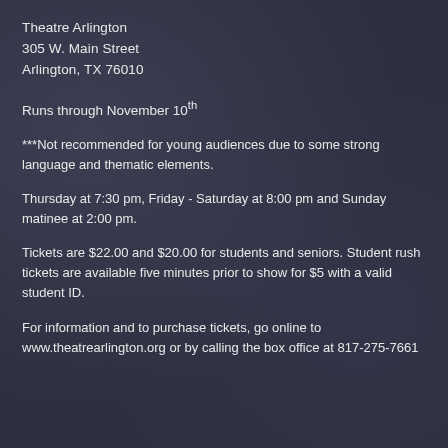Theatre Arlington
305 W. Main Street
Arlington, TX 76010
Runs through November 10th
***Not recommended for young audiences due to some strong language and thematic elements.
Thursday at 7:30 pm, Friday - Saturday at 8:00 pm and Sunday matinee at 2:00 pm.
Tickets are $22.00 and $20.00 for students and seniors. Student rush tickets are available five minutes prior to show for $5 with a valid student ID.
For information and to purchase tickets, go online to www.theatrearlington.org or by calling the box office at 817-275-7661